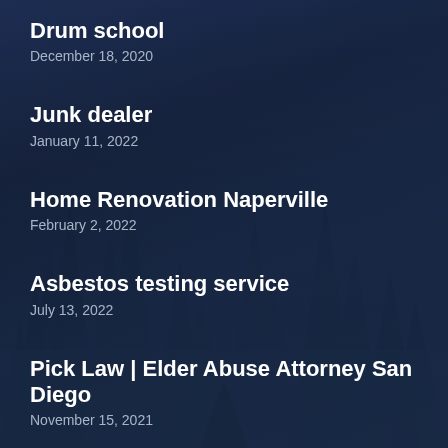Drum school
December 18, 2020
Junk dealer
January 11, 2022
Home Renovation Naperville
February 2, 2022
Asbestos testing service
July 13, 2022
Pick Law | Elder Abuse Attorney San Diego
November 15, 2021
Cash Advance Payday Loans Las Vegas | Cash